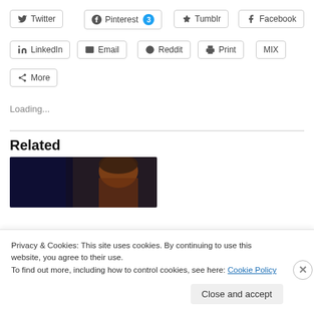Twitter
Pinterest 3
Tumblr
Facebook
LinkedIn
Email
Reddit
Print
MIX
More
Loading...
Related
[Figure (photo): Dark photo showing a person's face/head against a dark blue background]
Privacy & Cookies: This site uses cookies. By continuing to use this website, you agree to their use.
To find out more, including how to control cookies, see here: Cookie Policy